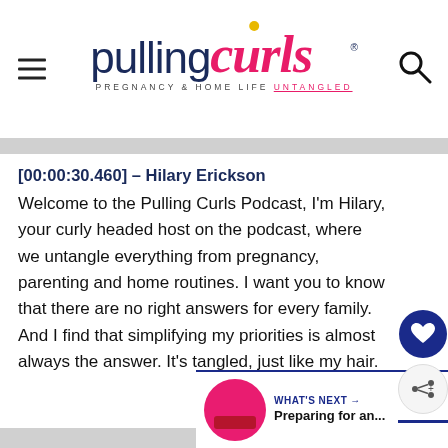Pulling Curls — PREGNANCY & HOME LIFE UNTANGLED
[00:00:30.460] – Hilary Erickson
Welcome to the Pulling Curls Podcast, I'm Hilary, your curly headed host on the podcast, where we untangle everything from pregnancy, parenting and home routines. I want you to know that there are no right answers for every family. And I find that simplifying my priorities is almost always the answer. It's tangled, just like my hair.
WHAT'S NEXT → Preparing for an...